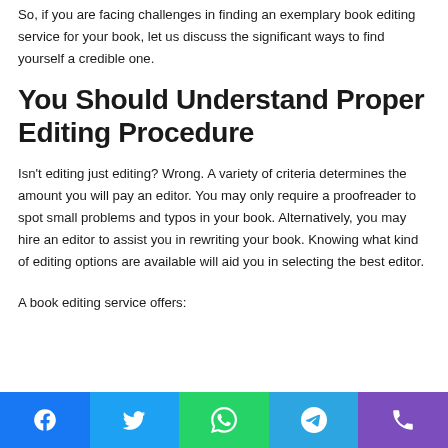So, if you are facing challenges in finding an exemplary book editing service for your book, let us discuss the significant ways to find yourself a credible one.
You Should Understand Proper Editing Procedure
Isn't editing just editing? Wrong. A variety of criteria determines the amount you will pay an editor. You may only require a proofreader to spot small problems and typos in your book. Alternatively, you may hire an editor to assist you in rewriting your book. Knowing what kind of editing options are available will aid you in selecting the best editor.
A book editing service offers:
[Figure (infographic): Social media sharing bar with Facebook, Twitter, WhatsApp, Telegram, and Phone icons on colored backgrounds]